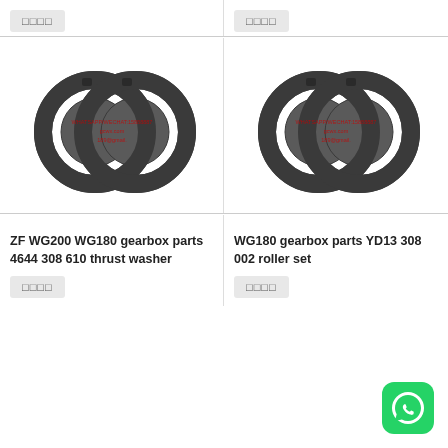[Figure (other): Button with Chinese characters (top-left)]
[Figure (other): Button with Chinese characters (top-right)]
[Figure (photo): ZF WG200 WG180 gearbox thrust washer rings - two overlapping dark metal rings]
[Figure (photo): WG180 gearbox YD13 308 002 roller set - two overlapping dark metal rings]
ZF WG200 WG180 gearbox parts 4644 308 610 thrust washer
WG180 gearbox parts YD13 308 002 roller set
[Figure (other): Button with Chinese characters (bottom-left)]
[Figure (other): Button with Chinese characters (bottom-right)]
[Figure (logo): WhatsApp green icon button]